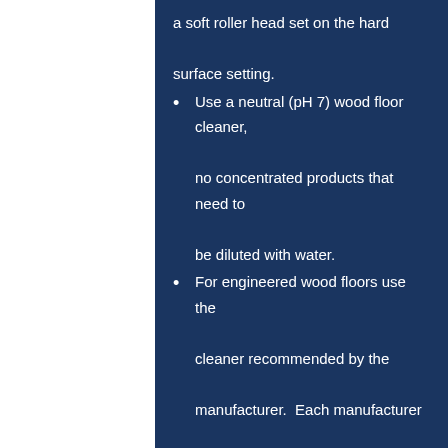a soft roller head set on the hard surface setting.
Use a neutral (pH 7) wood floor cleaner, no concentrated products that need to be diluted with water.
For engineered wood floors use the cleaner recommended by the manufacturer.  Each manufacturer recommends different cleaning products for their wood and some require using a specific cleaner or they void the warranty.
How do I care or my granite countertop?
Granite tops of cleaner...